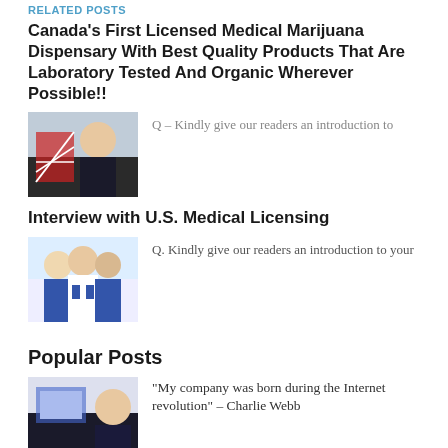RELATED POSTS
Canada's First Licensed Medical Marijuana Dispensary With Best Quality Products That Are Laboratory Tested And Organic Wherever Possible!!
[Figure (photo): Person in business attire pointing at a chart]
Q – Kindly give our readers an introduction to
Interview with U.S. Medical Licensing
[Figure (photo): Group of medical professionals in white coats]
Q. Kindly give our readers an introduction to your
Popular Posts
[Figure (photo): Person at computer in lab setting]
“My company was born during the Internet revolution” – Charlie Webb
[Figure (photo): Pharmacy shelves with products]
Convert enemies into friends for long term success – Dr Moon Ki Song
[Figure (photo): Group of people smiling]
I do not find Facebook that useful – Per Koch (Owner – Pandia.com)